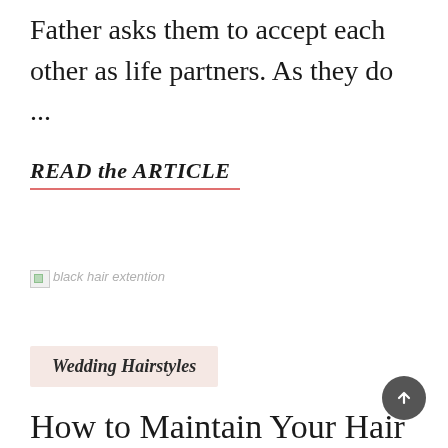Father asks them to accept each other as life partners. As they do ...
READ the ARTICLE
[Figure (photo): Broken image placeholder with alt text 'black hair extention']
Wedding Hairstyles
How to Maintain Your Hair